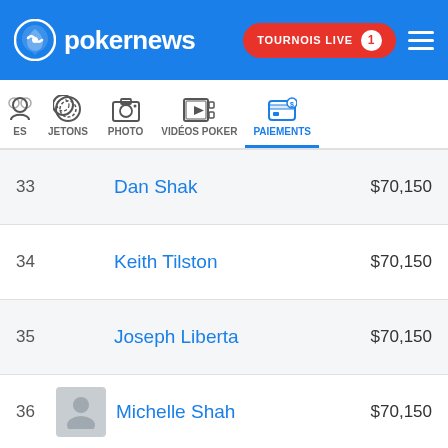pokernews — TOURNOIS LIVE 1
[Figure (screenshot): Navigation tabs: ES, JETONS, PHOTO, VIDÉOS POKER, PAIEMENTS (active)]
| Rank | Player | Amount |
| --- | --- | --- |
| 33 | Dan Shak | $70,150 |
| 34 | Keith Tilston | $70,150 |
| 35 | Joseph Liberta | $70,150 |
| 36 | Michelle Shah | $70,150 |
| 37 | Nethanel Klein | $70,150 |